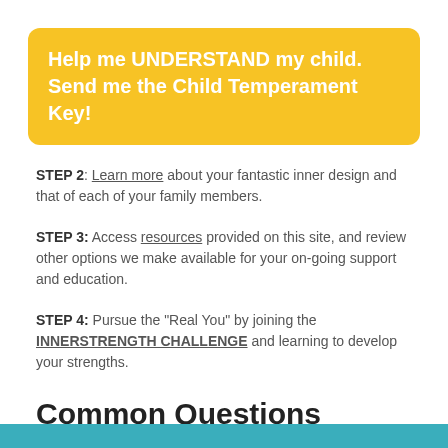Help me UNDERSTAND my child. Send me the Child Temperament Key!
STEP 2: Learn more about your fantastic inner design and that of each of your family members.
STEP 3: Access resources provided on this site, and review other options we make available for your on-going support and education.
STEP 4: Pursue the "Real You" by joining the INNERSTRENGTH CHALLENGE and learning to develop your strengths.
Common Questions